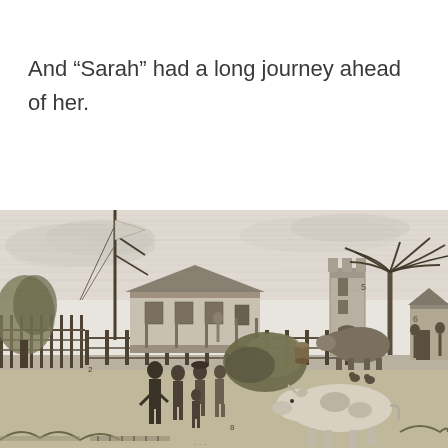And “Sarah” had a long journey ahead of her.
[Figure (illustration): A 19th-century engraving depicting a colonial settlement scene. In the foreground, several figures in period dress stand near a wooden fence along a path. A cow stands in the right-center foreground. In the middle ground, buildings including a house with a veranda and a tower structure are visible. A tall palm tree stands near the tower. A sailing ship mast and flag are visible on the left. Various animals and people populate the scene. The image is rendered in black and white engraving style.]